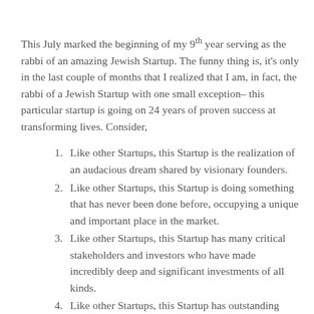This July marked the beginning of my 9th year serving as the rabbi of an amazing Jewish Startup. The funny thing is, it's only in the last couple of months that I realized that I am, in fact, the rabbi of a Jewish Startup with one small exception– this particular startup is going on 24 years of proven success at transforming lives. Consider,
Like other Startups, this Startup is the realization of an audacious dream shared by visionary founders.
Like other Startups, this Startup is doing something that has never been done before, occupying a unique and important place in the market.
Like other Startups, this Startup has many critical stakeholders and investors who have made incredibly deep and significant investments of all kinds.
Like other Startups, this Startup has outstanding professional and lay leadership that thinks strategically and is never content to rest on current successes.